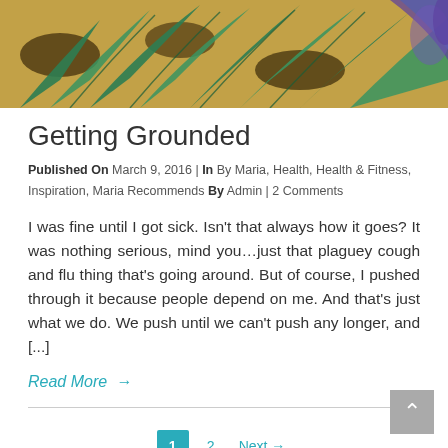[Figure (photo): Close-up photo of embroidered or woven textile with green leaf/feather pattern, sandy/golden background, and blue-purple thread accents on the right side.]
Getting Grounded
Published On March 9, 2016 | In By Maria, Health, Health & Fitness, Inspiration, Maria Recommends By Admin | 2 Comments
I was fine until I got sick. Isn't that always how it goes? It was nothing serious, mind you…just that plaguey cough and flu thing that's going around. But of course, I pushed through it because people depend on me. And that's just what we do. We push until we can't push any longer, and [...]
Read More →
1 2 Next →